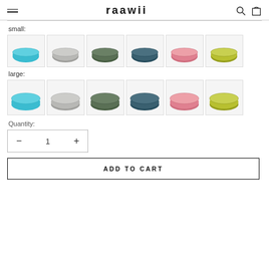raawii
small:
[Figure (photo): Six small bowls in colors: teal, gray, green, navy, pink, lime]
large:
[Figure (photo): Six large bowls in colors: teal, gray, green, navy, pink, lime]
Quantity:
- 1 +
ADD TO CART